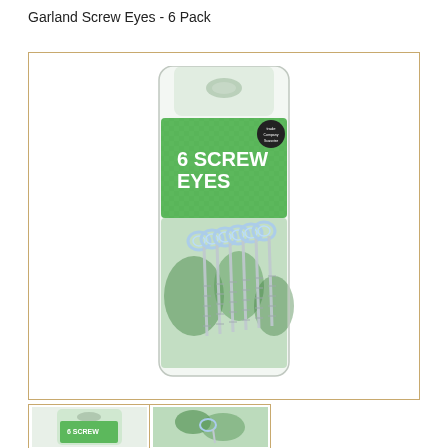Garland Screw Eyes - 6 Pack
[Figure (photo): Product photo of a blister pack containing 6 screw eyes with green label reading '6 SCREW EYES', showing silver metal screw eyes with looped tops and threaded shafts]
[Figure (photo): Small thumbnail showing the product package front view]
[Figure (photo): Small thumbnail showing close-up of screw eyes]